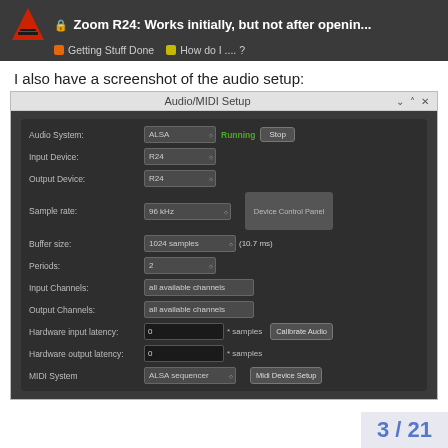🔒 Zoom R24: Works initially, but not after openin... | Getting Stuff Done | How do I .... ?
I also have a screenshot of the audio setup:
[Figure (screenshot): Audio/MIDI Setup dialog window showing: Audio System: ALSA (Running, Stop button), Input Device: R24, Output Device: R24, Sample rate: 96 kHz, Buffer size: 1024 samples (10.7 ms) with Device Control Panel, Periods: 2, Input Channels: all available channels, Output Channels: all available channels, Hardware input latency: 0 samples, Hardware output latency: 0 samples, MIDI System: ALSA sequencer with Midi Device Setup button, Calibrate Audio button]
3 / 21